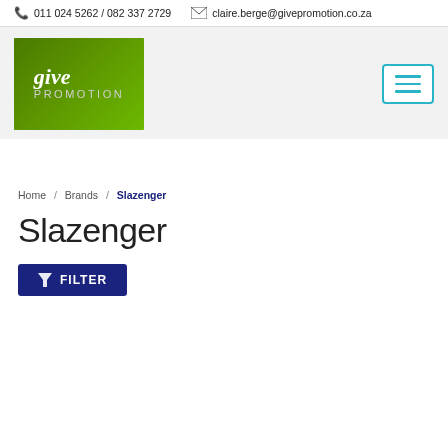011 024 5262 / 082 337 2729   claire.berge@givepromotion.co.za
[Figure (logo): Give Promotion company logo — green rectangle with 'give PROMOTION' text in white]
[Figure (other): Hamburger menu button with three horizontal lines, teal/cyan border]
Home / Brands / Slazenger
Slazenger
FILTER